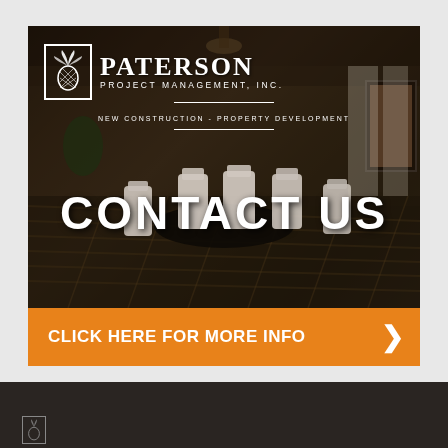[Figure (screenshot): Paterson Project Management, Inc. advertisement banner showing a dark luxury dining room interior with white chairs around a dark table, hardwood floor. Overlay text reads CONTACT US, with company logo top-left, and an orange call-to-action bar at bottom reading CLICK HERE FOR MORE INFO with a right-pointing chevron arrow.]
PATERSON
PROJECT MANAGEMENT, INC.
NEW CONSTRUCTION - PROPERTY DEVELOPMENT
CONTACT US
CLICK HERE FOR MORE INFO